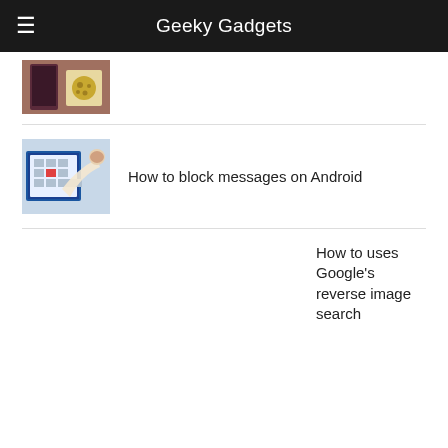Geeky Gadgets
[Figure (photo): Partial view of smartphone and cookies thumbnail at top of article list]
[Figure (photo): Thumbnail showing a hand using a smartphone with a calculator app]
How to block messages on Android
How to uses Google’s reverse image search